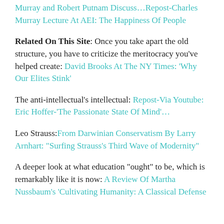Murray and Robert Putnam Discuss…Repost-Charles Murray Lecture At AEI: The Happiness Of People
Related On This Site: Once you take apart the old structure, you have to criticize the meritocracy you've helped create: David Brooks At The NY Times: 'Why Our Elites Stink'
The anti-intellectual's intellectual: Repost-Via Youtube: Eric Hoffer-'The Passionate State Of Mind'…
Leo Strauss: From Darwinian Conservatism By Larry Arnhart: "Surfing Strauss's Third Wave of Modernity"
A deeper look at what education "ought" to be, which is remarkably like it is now: A Review Of Martha Nussbaum's 'Cultivating Humanity: A Classical Defense